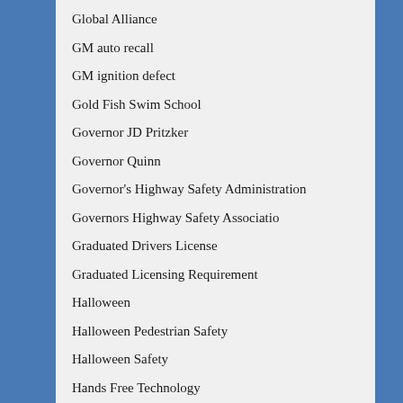Global Alliance
GM auto recall
GM ignition defect
Gold Fish Swim School
Governor JD Pritzker
Governor Quinn
Governor's Highway Safety Administration
Governors Highway Safety Associatio
Graduated Drivers License
Graduated Licensing Requirement
Halloween
Halloween Pedestrian Safety
Halloween Safety
Hands Free Technology
HBO
head injury